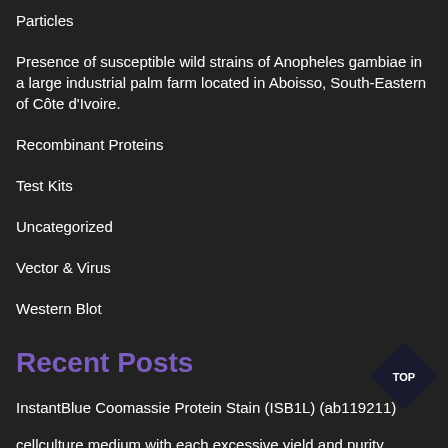Particles
Presence of susceptible wild strains of Anopheles gambiae in a large industrial palm farm located in Aboisso, South-Eastern of Côte d'Ivoire.
Recombinant Proteins
Test Kits
Uncategorized
Vector & Virus
Western Blot
Recent Posts
InstantBlue Coomassie Protein Stain (ISB1L) (ab119211)
cellculture medium with each excessive yield and purity
In Vitro Tradition and Conversion to Pluripotent Stem